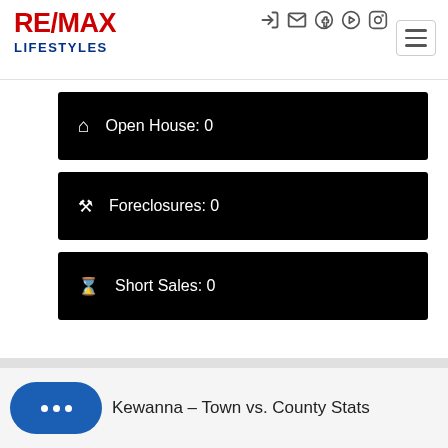[Figure (logo): RE/MAX LIFESTYLES logo in red and blue]
Open House: 0
Foreclosures: 0
Short Sales: 0
Kewanna - Town vs. County Stats